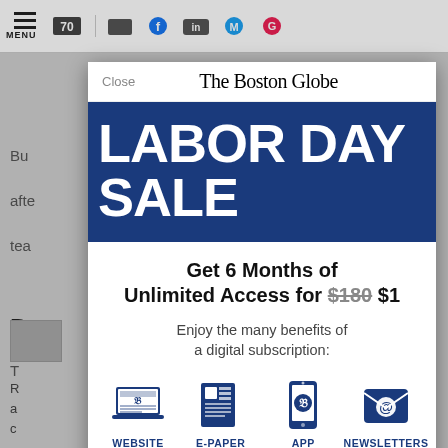[Figure (screenshot): Screenshot of The Boston Globe website with a Labor Day Sale subscription modal overlay. The modal shows 'The Boston Globe' masthead in blackletter font, a blue banner reading 'LABOR DAY SALE', an offer for '6 Months of Unlimited Access for $180 $1', a subtext about digital subscription benefits, and four benefit icons: WEBSITE, E-PAPER, APP, NEWSLETTERS.]